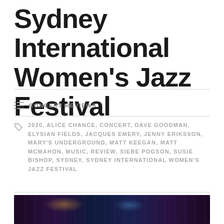Sydney International Women's Jazz Festival
CONCERT REVIEWS
2020, ALICE CHANCE, CONCERT, DAVE GOODMAN, ELYSIAN FIELDS, JACQUES EMERY, JENNY ERIKSSON, MARY'S UNDERGROUND, MATT KEEGAN, MATT MCMAHON, MUSIC, REVIEW, SIEBE POGSON, SUSIE BISHOP, SYDNEY, SYDNEY INTERNATIONAL WOMEN'S JAZZ FESTIVAL
LEAVE A COMMENT
[Figure (photo): Dark concert/music venue photo with purple and amber lighting, showing instruments or performers on stage]